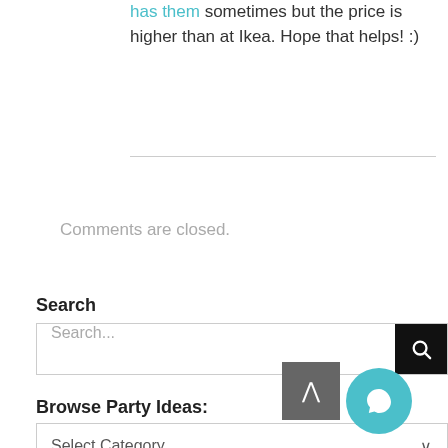has them sometimes but the price is higher than at Ikea. Hope that helps! :)
Comments are closed.
Search
Search...
Browse Party Ideas:
Select Category